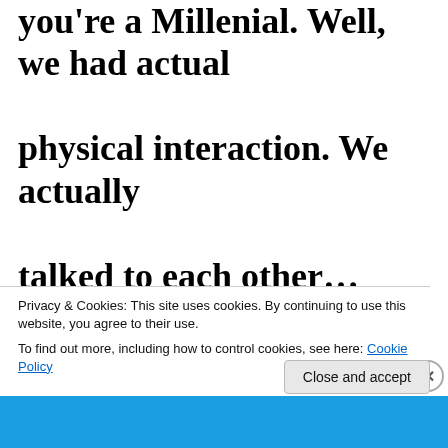you're a Millenial. Well, we had actual physical interaction. We actually talked to each other…face-to-face! If someone went to all the trouble to call you on the phone, we talked to them! If that person was far away, that meant
Privacy & Cookies: This site uses cookies. By continuing to use this website, you agree to their use.
To find out more, including how to control cookies, see here: Cookie Policy
Close and accept